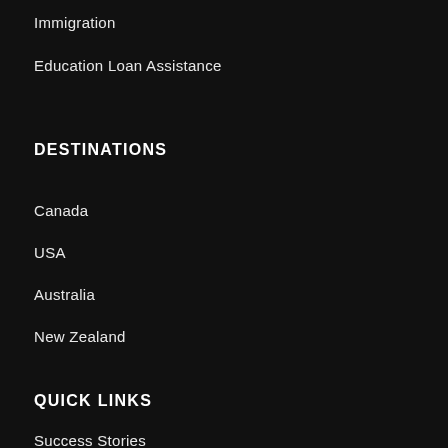Immigration
Education Loan Assistance
DESTINATIONS
Canada
USA
Australia
New Zealand
QUICK LINKS
Success Stories